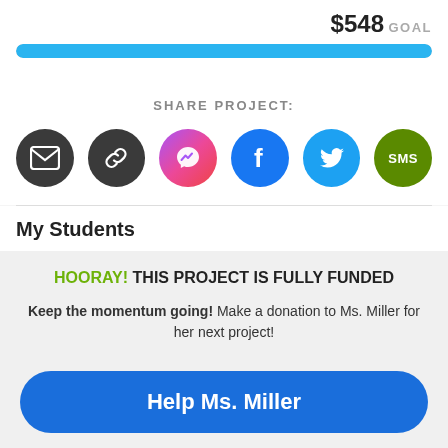$548 GOAL
[Figure (infographic): Blue progress bar fully filled, indicating 100% funding reached toward $548 goal]
SHARE PROJECT:
[Figure (infographic): Row of 6 share icons: email (dark circle), link (dark circle), Messenger (pink-purple gradient circle), Facebook (blue circle), Twitter (light blue circle), SMS (green circle)]
My Students
HOORAY! THIS PROJECT IS FULLY FUNDED
Keep the momentum going! Make a donation to Ms. Miller for her next project!
Help Ms. Miller